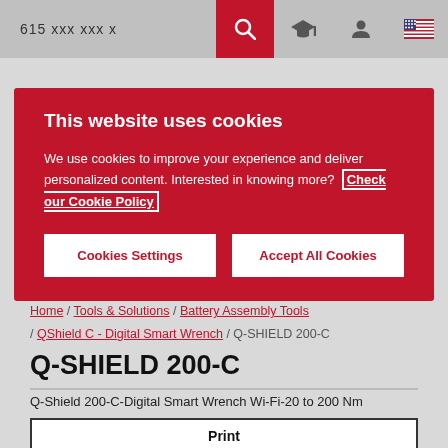615 xxx xxx x
This website uses cookies
We use cookies to improve your experience and deliver personalized content. Interested in knowing more? Check our Cookie Policy
Cookies Settings
Accept All Cookies
Home / Tools & Solutions / Battery Assembly Tools / QShield C - Digital Smart Wrench / Q-SHIELD 200-C
Q-SHIELD 200-C
Q-Shield 200-C-Digital Smart Wrench Wi-Fi-20 to 200 Nm
Print